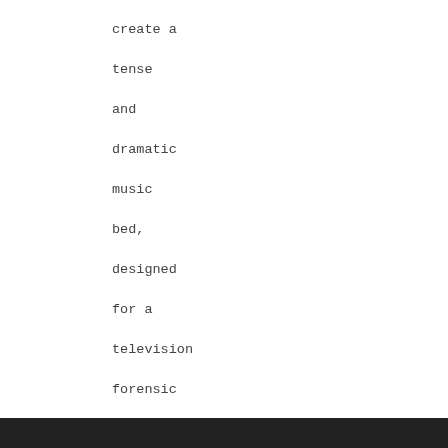create a tense and dramatic music bed, designed for a television forensic or investigative drama ala CSI, Criminal Minds, or Bones.rnSecond cue in the series, more suited to lab work and/or looking